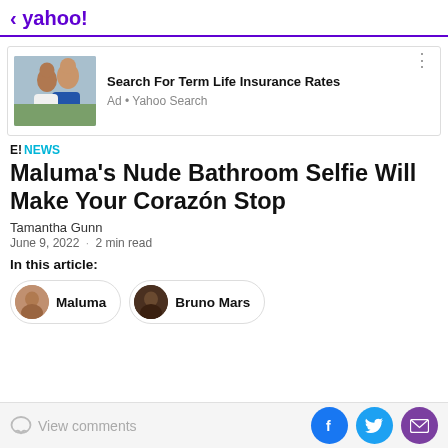< yahoo!
[Figure (screenshot): Advertisement banner: couple photo on left, 'Search For Term Life Insurance Rates' text, 'Ad • Yahoo Search' subtext]
E! NEWS
Maluma's Nude Bathroom Selfie Will Make Your Corazón Stop
Tamantha Gunn
June 9, 2022 · 2 min read
In this article:
Maluma
Bruno Mars
View comments